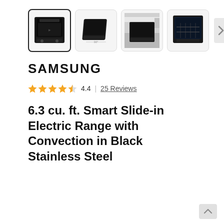[Figure (photo): Product thumbnail images: 4 thumbnails of a Samsung black stainless steel slide-in electric range from different angles, with a next arrow button]
SAMSUNG
4.4 | 25 Reviews
6.3 cu. ft. Smart Slide-in Electric Range with Convection in Black Stainless Steel